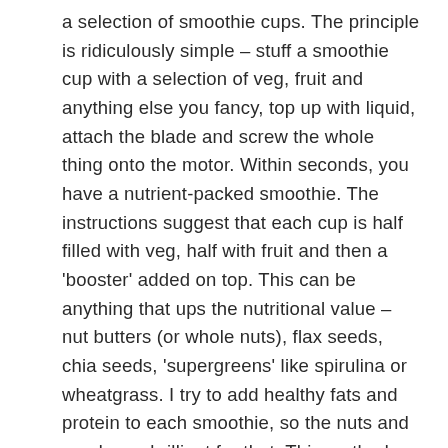a selection of smoothie cups. The principle is ridiculously simple – stuff a smoothie cup with a selection of veg, fruit and anything else you fancy, top up with liquid, attach the blade and screw the whole thing onto the motor. Within seconds, you have a nutrient-packed smoothie. The instructions suggest that each cup is half filled with veg, half with fruit and then a 'booster' added on top. This can be anything that ups the nutritional value – nut butters (or whole nuts), flax seeds, chia seeds, 'supergreens' like spirulina or wheatgrass. I try to add healthy fats and protein to each smoothie, so the nuts and seeds are brilliant for that. This method works for any smoothie, and by making it 50% veg plus the nuts/seeds that whole fruity sugar rush issue is dealt with.
These smoothies are very easy to chuck together in the morning and a great way for everyone in the family